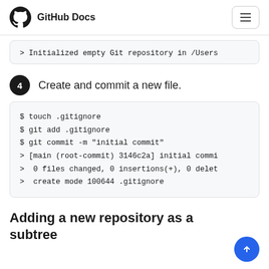GitHub Docs
> Initialized empty Git repository in /Users
4  Create and commit a new file.
$ touch .gitignore
$ git add .gitignore
$ git commit -m "initial commit"
> [main (root-commit) 3146c2a] initial commi
>  0 files changed, 0 insertions(+), 0 delet
>  create mode 100644 .gitignore
Adding a new repository as a subtree